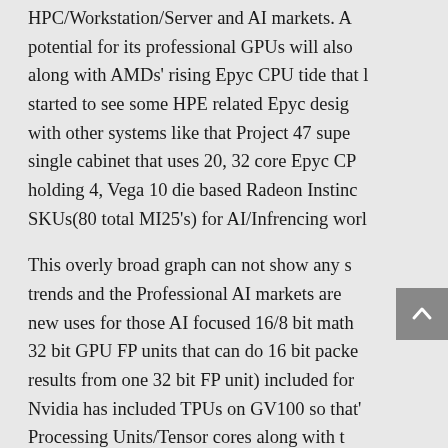HPC/Workstation/Server and AI markets. AMDs potential for its professional GPUs will also along with AMDs' rising Epyc CPU tide that l started to see some HPE related Epyc desig with other systems like that Project 47 supe single cabinet that uses 20, 32 core Epyc CP holding 4, Vega 10 die based Radeon Instinc SKUs(80 total MI25's) for AI/Infrencing wor
This overly broad graph can not show any s trends and the Professional AI markets are new uses for those AI focused 16/8 bit math 32 bit GPU FP units that can do 16 bit packe results from one 32 bit FP unit) included for Nvidia has included TPUs on GV100 so that' Processing Units/Tensor cores along with t